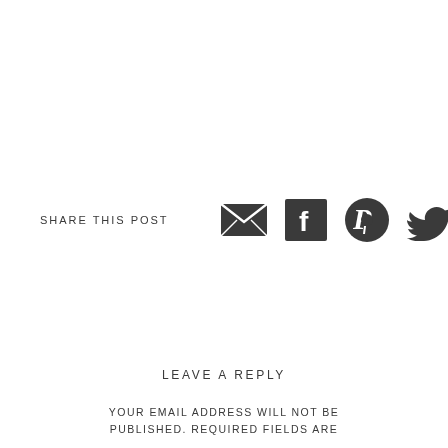SHARE THIS POST
[Figure (infographic): Social share icons: email/envelope, Facebook, Pinterest, Twitter]
LEAVE A REPLY
YOUR EMAIL ADDRESS WILL NOT BE PUBLISHED. REQUIRED FIELDS ARE